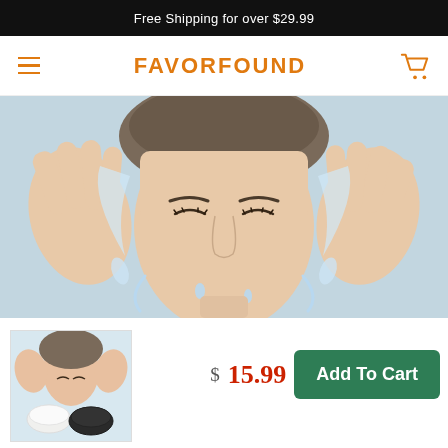Free Shipping for over $29.99
FAVORFOUND
[Figure (photo): Woman washing her face with water splashing from both hands, close-up shot with wet hair pulled back]
[Figure (photo): Thumbnail product image showing woman washing face and two konjac sponges (white and black) below]
$ 15.99
Add To Cart